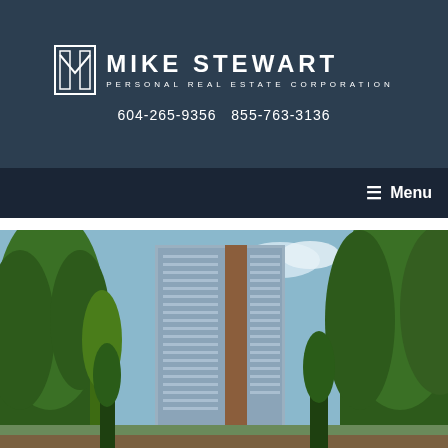[Figure (logo): Mike Stewart Personal Real Estate Corporation logo with icon showing stylized M in a frame]
604-265-9356  855-763-3136
☰ Menu
[Figure (photo): Exterior rendering of a tall modern high-rise residential tower surrounded by large evergreen trees, with blue sky in background]